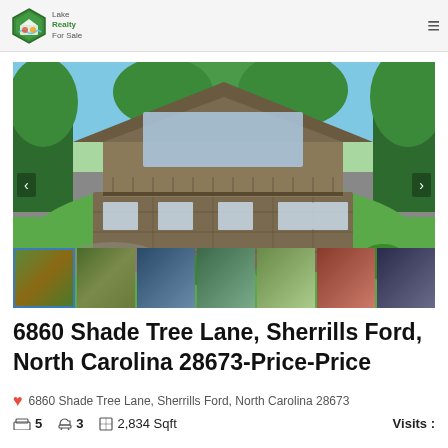LakeRealtyForSale.com navigation header
[Figure (photo): Aerial/exterior photo of a large two-story log/stone house with gambrel roof and large glass windows, surrounded by green trees and lawn. Below the main photo is a strip of 7 thumbnail photos showing various views of the property including dock, lake, and interior shots.]
6860 Shade Tree Lane, Sherrills Ford, North Carolina 28673-Price-Price
6860 Shade Tree Lane, Sherrills Ford, North Carolina 28673
5  3  2,834 Sqft  Visits :